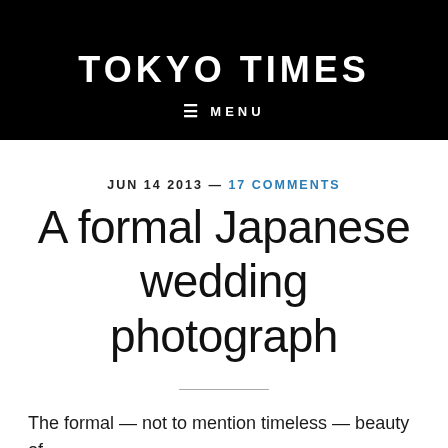TOKYO TIMES
≡ MENU
JUN 14 2013 — 17 COMMENTS
A formal Japanese wedding photograph
The formal — not to mention timeless — beauty of